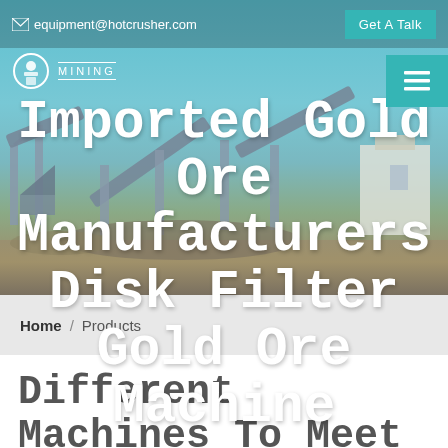equipment@hotcrusher.com   Get A Talk
[Figure (photo): Mining facility with conveyor belts and industrial machinery against a blue sky background]
Imported Gold Ore Manufacturers Disk Filter Gold Ore Machine
Mining
Home / Products
Different Machines To Meet All